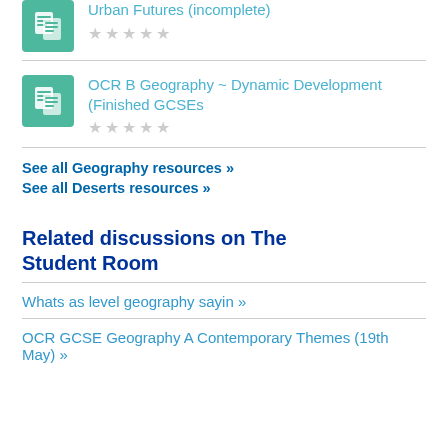Urban Futures (incomplete)
OCR B Geography ~ Dynamic Development (Finished GCSEs
See all Geography resources »
See all Deserts resources »
Related discussions on The Student Room
Whats as level geography sayin »
OCR GCSE Geography A Contemporary Themes (19th May) »